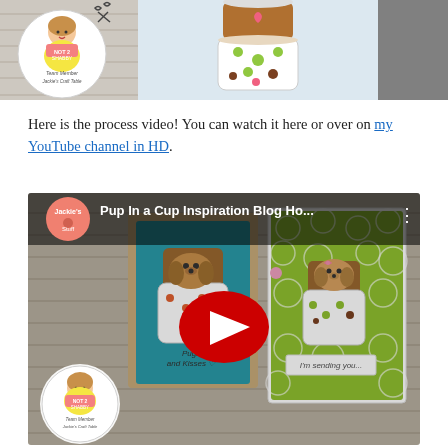[Figure (photo): Top image strip with three sections: left shows a craft card with a girl character and 'Team Member Jackie's Craft Table' text, center shows a decorated coffee cup with polka dots and a pink heart, right shows a partial dark/grey image]
Here is the process video! You can watch it here or over on my YouTube channel in HD.
[Figure (screenshot): YouTube video thumbnail showing 'Pup In a Cup Inspiration Blog Ho...' with a red YouTube play button in the center. Shows two cards with puppy-in-a-cup designs — one on teal/kraft background saying 'Pugs and Kisses', one on lime green background saying 'I’m sending you...' — with Jackie's craft table logo in lower left corner.]